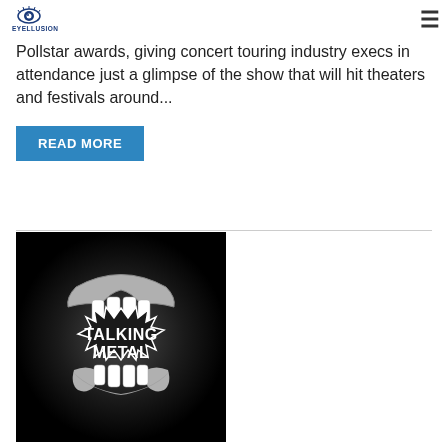EYELLUSION (logo) | hamburger menu
Pollstar awards, giving concert touring industry execs in attendance just a glimpse of the show that will hit theaters and festivals around...
READ MORE
[Figure (logo): Talking Metal logo — stylized open monster mouth with white teeth on black background with the words TALKING METAL in bold distressed font]